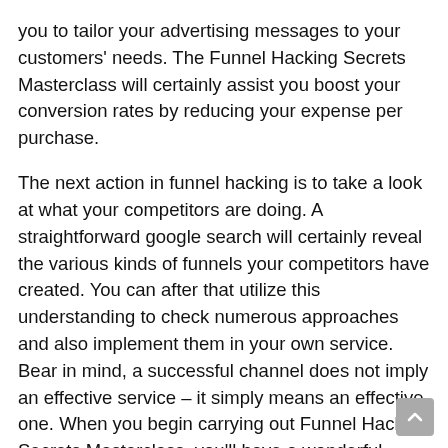you to tailor your advertising messages to your customers' needs. The Funnel Hacking Secrets Masterclass will certainly assist you boost your conversion rates by reducing your expense per purchase.
The next action in funnel hacking is to take a look at what your competitors are doing. A straightforward google search will certainly reveal the various kinds of funnels your competitors have created. You can after that utilize this understanding to check numerous approaches and also implement them in your own service. Bear in mind, a successful channel does not imply an effective service – it simply means an effective one. When you begin carrying out Funnel Hacking Secrets Masterclass, you'll have a wonderful technique in no time at all!